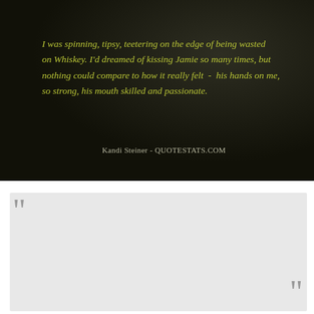[Figure (photo): Dark textured background image with olive/yellow-green italic quote text and attribution]
I was spinning, tipsy, teetering on the edge of being wasted on Whiskey. I'd dreamed of kissing Jamie so many times, but nothing could compare to how it really felt  -  his hands on me, so strong, his mouth skilled and passionate.
Kandi Steiner - QUOTESTATS.COM
#23. The dusk twilit leaves me tipsy. Rain lashing down to trashed. Moon sailing through dries up snooze. He in spring holds the breath. And raining petals a warm hug craved for. - Author: Akshmala Sharma